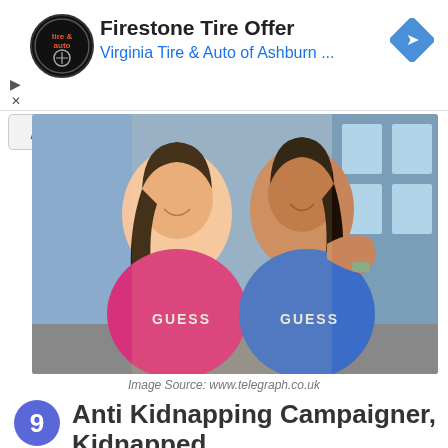[Figure (screenshot): Advertisement banner for Firestone Tire Offer from Virginia Tire & Auto of Ashburn with logo and navigation arrow icon]
[Figure (photo): Two smiling women wearing Guess branded t-shirts (one pink, one blue) posing together outdoors in front of a building]
Image Source: www.telegraph.co.uk
Anti Kidnapping Campaigner, Kidnapped